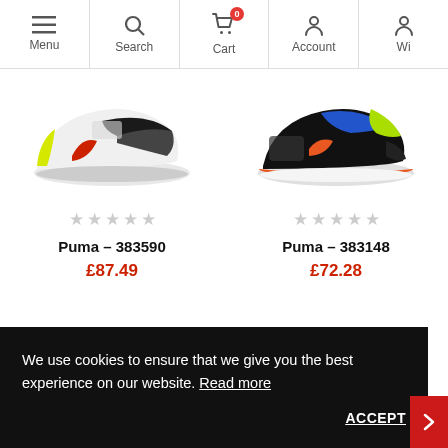Menu | Search | Cart (0) | Account | Wi
[Figure (photo): Puma sneaker 383590 - colorful trainer with yellow, red, black, white design, side view]
[Figure (photo): Puma sneaker 383148 - colorful trainer with blue, orange, green, black design, side view]
★★★★★
Puma – 383590
£87.49
★★★★★
Puma – 383148
£72.28
We use cookies to ensure that we give you the best experience on our website. Read more
ACCEPT